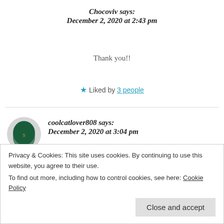Chocoviv says:
December 2, 2020 at 2:43 pm
Thank you!!
★ Liked by 3 people
coolcatlover808 says:
December 2, 2020 at 3:04 pm
Oh wow! I literally just hit like... 5 blog posts! You
Privacy & Cookies: This site uses cookies. By continuing to use this website, you agree to their use.
To find out more, including how to control cookies, see here: Cookie Policy
Close and accept